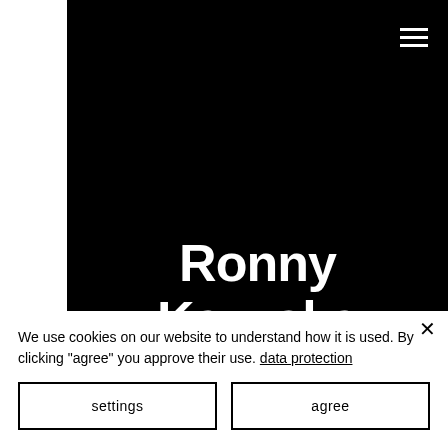[Figure (screenshot): Black hero background panel with hamburger menu icon in top right corner]
Ronny Kazuska
We use cookies on our website to understand how it is used. By clicking "agree" you approve their use. data protection
settings
agree